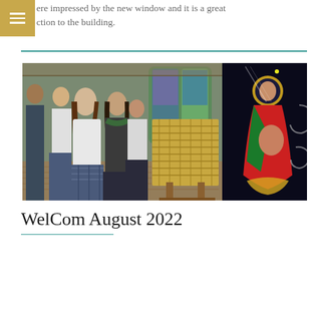ere impressed by the new window and it is a great ction to the building.
[Figure (photo): Students in school uniforms gathered around a woven flax display inside a chapel or cultural space, with a large dark artwork panel on the right depicting a Madonna and child icon in a Māori artistic style.]
WelCom August 2022